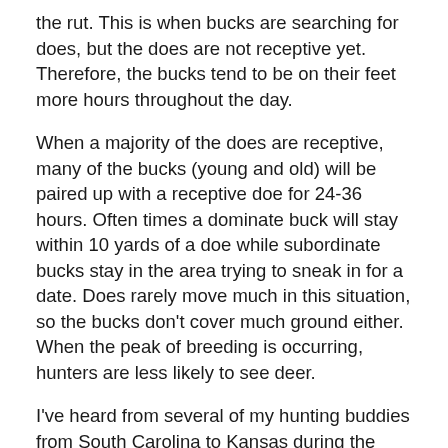the rut. This is when bucks are searching for does, but the does are not receptive yet. Therefore, the bucks tend to be on their feet more hours throughout the day.
When a majority of the does are receptive, many of the bucks (young and old) will be paired up with a receptive doe for 24-36 hours. Often times a dominate buck will stay within 10 yards of a doe while subordinate bucks stay in the area trying to sneak in for a date. Does rarely move much in this situation, so the bucks don't cover much ground either. When the peak of breeding is occurring, hunters are less likely to see deer.
I've heard from several of my hunting buddies from South Carolina to Kansas during the past few days and none of them are reporting seeing many deer. It appears many deer herds are currently in the lockdown phase of the rut.